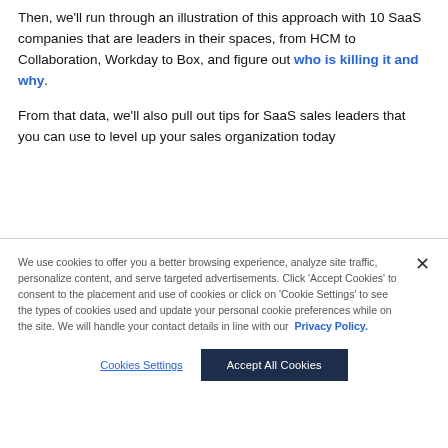Then, we'll run through an illustration of this approach with 10 SaaS companies that are leaders in their spaces, from HCM to Collaboration, Workday to Box, and figure out who is killing it and why.
From that data, we'll also pull out tips for SaaS sales leaders that you can use to level up your sales organization today
We use cookies to offer you a better browsing experience, analyze site traffic, personalize content, and serve targeted advertisements. Click 'Accept Cookies' to consent to the placement and use of cookies or click on 'Cookie Settings' to see the types of cookies used and update your personal cookie preferences while on the site. We will handle your contact details in line with our Privacy Policy.